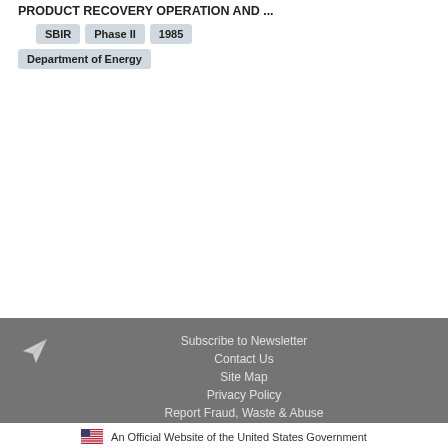PRODUCT RECOVERY OPERATION AND ...
SBIR
Phase II
1985
Department of Energy
Subscribe to Newsletter | Contact Us | Site Map | Privacy Policy | Report Fraud, Waste & Abuse | Open Government | Advocacy | Inspector General | USA.gov | SBA.gov
An Official Website of the United States Government